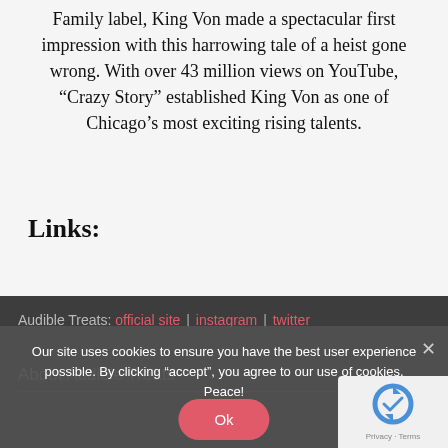Family label, King Von made a spectacular first impression with this harrowing tale of a heist gone wrong. With over 43 million views on YouTube, “Crazy Story” established King Von as one of Chicago’s most exciting rising talents.
Links:
Audible Treats: official site | instagram | twitter
Our site uses cookies to ensure you have the best user experience possible. By clicking “accept”, you agree to our use of cookies. Peace!
About Audible Treats